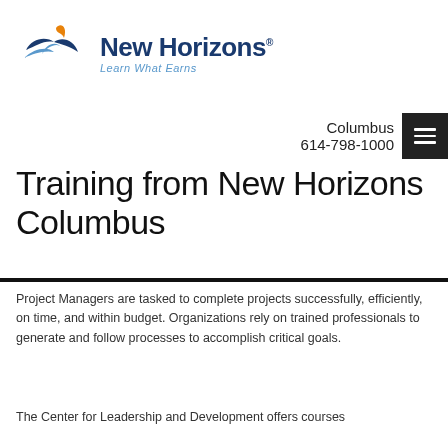[Figure (logo): New Horizons logo with bird/wing icon in blue and orange, text 'New Horizons' in dark blue bold, tagline 'Learn What Earns' in light blue italic]
Columbus
614-798-1000
Training from New Horizons Columbus
Project Managers are tasked to complete projects successfully, efficiently, on time, and within budget. Organizations rely on trained professionals to generate and follow processes to accomplish critical goals.
The Center for Leadership and Development offers courses